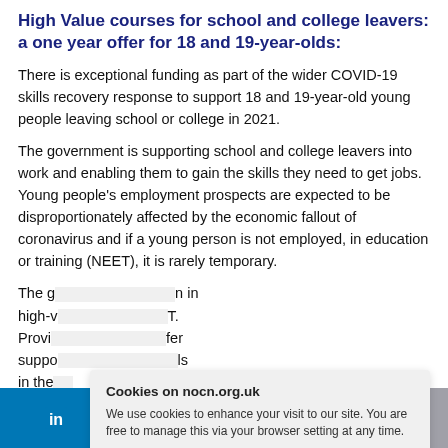High Value courses for school and college leavers: a one year offer for 18 and 19-year-olds:
There is exceptional funding as part of the wider COVID-19 skills recovery response to support 18 and 19-year-old young people leaving school or college in 2021.
The government is supporting school and college leavers into work and enabling them to gain the skills they need to get jobs. Young people's employment prospects are expected to be disproportionately affected by the economic fallout of coronavirus and if a young person is not employed, in education or training (NEET), it is rarely temporary.
The government will concentrate on free to access education in high-v[...] NEET. Provi[...] fer suppo[...] ls in the[...]
Cookies on nocn.org.uk
We use cookies to enhance your visit to our site. You are free to manage this via your browser setting at any time.
More information   OK
LinkedIn  Twitter  Facebook  Print